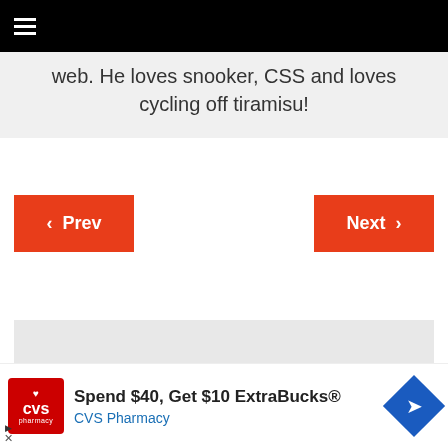≡ (hamburger menu navigation bar)
web. He loves snooker, CSS and loves cycling off tiramisu!
< Prev   Next >
[Figure (other): Grey placeholder content box]
[Figure (other): Collapse/chevron button]
Spend $40, Get $10 ExtraBucks® CVS Pharmacy